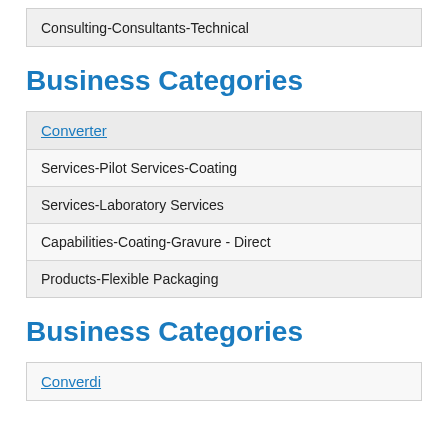Consulting-Consultants-Technical
Business Categories
Converter
Services-Pilot Services-Coating
Services-Laboratory Services
Capabilities-Coating-Gravure - Direct
Products-Flexible Packaging
Business Categories